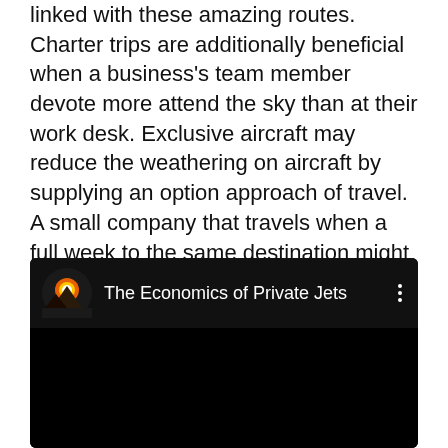linked with these amazing routes. Charter trips are additionally beneficial when a business's team member devote more attend the sky than at their work desk. Exclusive aircraft may reduce the weathering on aircraft by supplying an option approach of travel. A small company that travels when a full week to the same destination might conveniently make use of this company.
[Figure (screenshot): A YouTube-style embedded video thumbnail with a dark background. The video header shows a circular logo icon (orange and red gradient with a mountain silhouette) on the left, the title 'The Economics of Private Jets' in white text in the center, and a three-dot menu icon on the right. The body of the video player is black.]